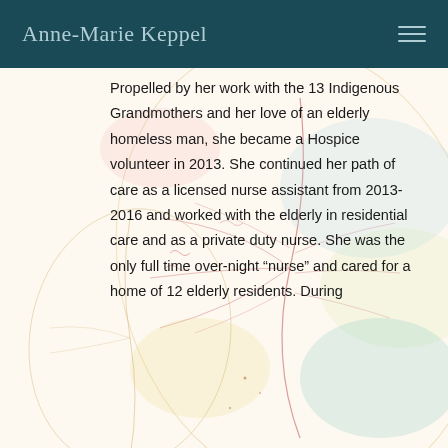Anne-Marie Keppel
Propelled by her work with the 13 Indigenous Grandmothers and her love of an elderly homeless man, she became a Hospice volunteer in 2013. She continued her path of care as a licensed nurse assistant from 2013-2016 and worked with the elderly in residential care and as a private duty nurse. She was the only full time over-night “nurse” and cared for a home of 12 elderly residents. During